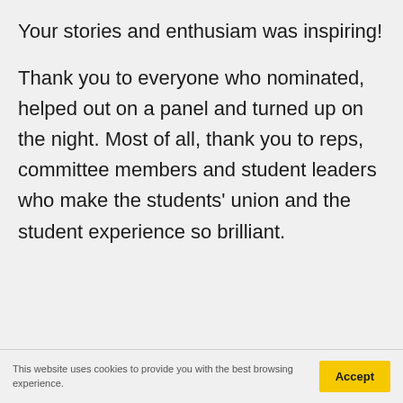Your stories and enthusiam was inspiring!
Thank you to everyone who nominated, helped out on a panel and turned up on the night. Most of all, thank you to reps, committee members and student leaders who make the students' union and the student experience so brilliant.
This website uses cookies to provide you with the best browsing experience. More